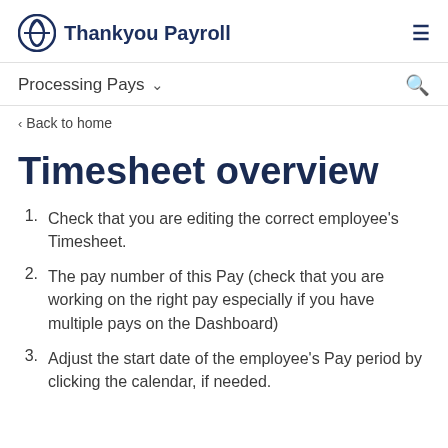Thankyou Payroll
Processing Pays
Back to home
Timesheet overview
Check that you are editing the correct employee's Timesheet.
The pay number of this Pay (check that you are working on the right pay especially if you have multiple pays on the Dashboard)
Adjust the start date of the employee's Pay period by clicking the calendar, if needed.